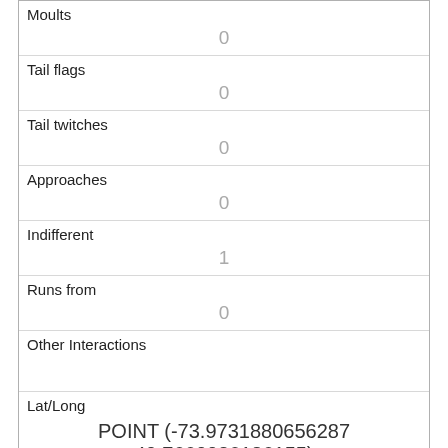| Moults | 0 |
| Tail flags | 0 |
| Tail twitches | 0 |
| Approaches | 0 |
| Indifferent | 1 |
| Runs from | 0 |
| Other Interactions |  |
| Lat/Long | POINT (-73.9731880656287 40.7660026186155) |
| Link | 2985 |
| rowid | 2985 |